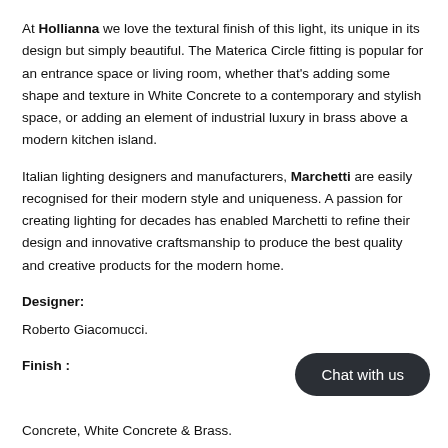At Hollianna we love the textural finish of this light, its unique in its design but simply beautiful. The Materica Circle fitting is popular for an entrance space or living room, whether that's adding some shape and texture in White Concrete to a contemporary and stylish space, or adding an element of industrial luxury in brass above a modern kitchen island.
Italian lighting designers and manufacturers, Marchetti are easily recognised for their modern style and uniqueness. A passion for creating lighting for decades has enabled Marchetti to refine their design and innovative craftsmanship to produce the best quality and creative products for the modern home.
Designer:
Roberto Giacomucci.
Finish :
Concrete, White Concrete & Brass.